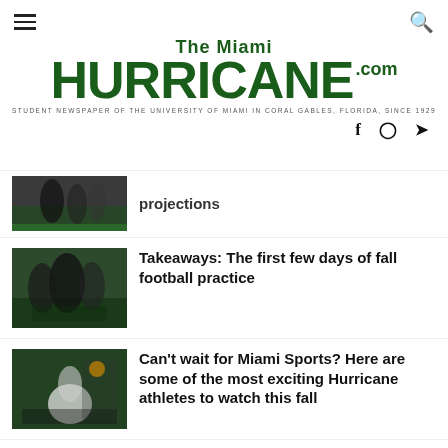The Miami HURRICANE.com — STUDENT NEWSPAPER OF THE UNIVERSITY OF MIAMI IN CORAL GABLES, FLORIDA, SINCE 1929
[Figure (other): Partial article thumbnail showing football players on field]
projections
[Figure (photo): Football players during practice, coach in black jacket visible]
Takeaways: The first few days of fall football practice
[Figure (photo): Basketball player on court during game]
Can't wait for Miami Sports? Here are some of the most exciting Hurricane athletes to watch this fall
[Figure (photo): Partial view of football-related image at bottom]
A tradition is over: Miami football